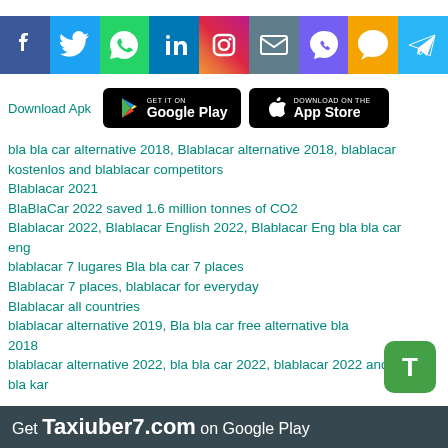[Figure (infographic): Social media sharing icons bar: Facebook, Twitter, WhatsApp, LinkedIn, Instagram, Email, Viber, SMS, Telegram]
Download Apk  [Google Play badge]  [App Store badge]
bla bla car alternative 2018, Blablacar alternative 2018, blablacar kostenlos and blablacar competitors
Blablacar 2021
BlaBlaCar 2022 saved 1.6 million tonnes of CO2
Blablacar 2022, Blablacar English 2022, Blablacar Eng bla bla car eng
blablacar 7 lugares Bla bla car 7 places
Blablacar 7 places, blablacar for everyday
Blablacar all countries
blablacar alternative 2019, Bla bla car free alternative blablacar 2018
blablacar alternative 2022, bla bla car 2022, blablacar 2022 and bla bla kar
Get Taxiuber7.com on Google Play